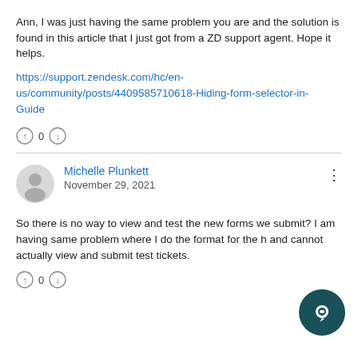Ann, I was just having the same problem you are and the solution is found in this article that I just got from a ZD support agent. Hope it helps.
https://support.zendesk.com/hc/en-us/community/posts/4409585710618-Hiding-form-selector-in-Guide
0
Michelle Plunkett
November 29, 2021
So there is no way to view and test the new forms we submit?  I am having same problem where I do the format for the h and cannot actually view and submit test tickets.
0